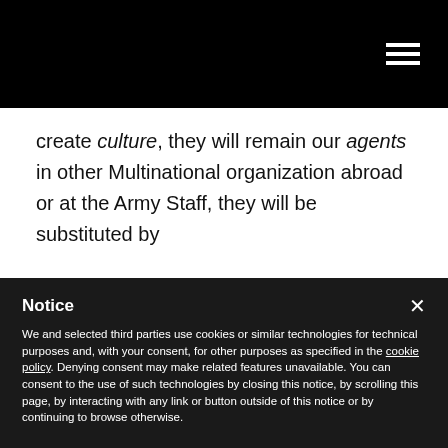[Figure (other): Dark header bar with hamburger menu icon (three horizontal white lines) on the right side]
create culture, they will remain our agents in other Multinational organization abroad or at the Army Staff, they will be substituted by
Notice
We and selected third parties use cookies or similar technologies for technical purposes and, with your consent, for other purposes as specified in the cookie policy. Denying consent may make related features unavailable. You can consent to the use of such technologies by closing this notice, by scrolling this page, by interacting with any link or button outside of this notice or by continuing to browse otherwise.